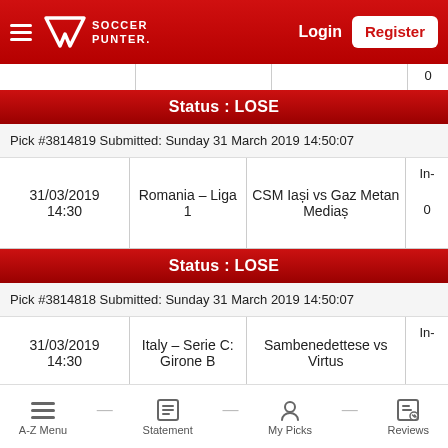Soccer Punter — Login / Register
Status : LOSE
Pick #3814819 Submitted: Sunday 31 March 2019 14:50:07
| Date | League | Match | Tip |
| --- | --- | --- | --- |
| 31/03/2019 14:30 | Romania - Liga 1 | CSM Iași vs Gaz Metan Mediaș | 0 |
Status : LOSE
Pick #3814818 Submitted: Sunday 31 March 2019 14:50:07
| Date | League | Match | Tip |
| --- | --- | --- | --- |
| 31/03/2019 14:30 | Italy - Serie C: Girone B | Sambenedettese vs Virtus | In- |
A-Z Menu  —  Statement  —  My Picks  —  Reviews